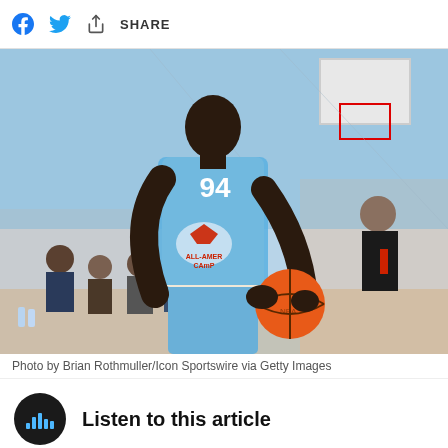f  [twitter bird]  [share icon]  SHARE
[Figure (photo): Basketball player wearing number 94 All-American Camp jersey in blue and white, holding an orange basketball, at an indoor basketball event with spectators in background.]
Photo by Brian Rothmuller/Icon Sportswire via Getty Images
Listen to this article